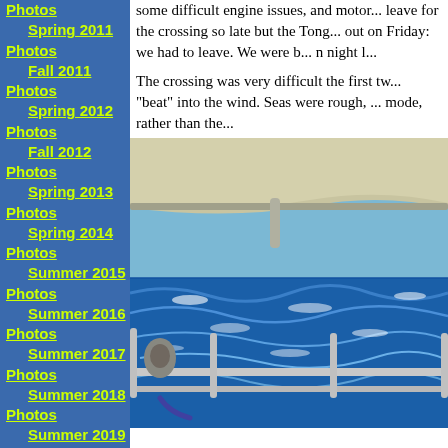Photos
Spring 2011 Photos
Fall 2011 Photos
Spring 2012 Photos
Fall 2012 Photos
Spring 2013 Photos
Spring 2014 Photos
Summer 2015 Photos
Summer 2016 Photos
Summer 2017 Photos
Summer 2018 Photos
Summer 2019 Photos
Summer 2020 Photos
some difficult engine issues, and motor... leave for the crossing so late but the Tong... out on Friday: we had to leave. We were b... n night l...
The crossing was very difficult the first tw... "beat" into the wind. Seas were rough, ... mode, rather than the...
[Figure (photo): View from sailboat cockpit showing the bimini top overhead, stainless steel railings, and rough blue ocean seas with whitecaps under a partly cloudy sky.]